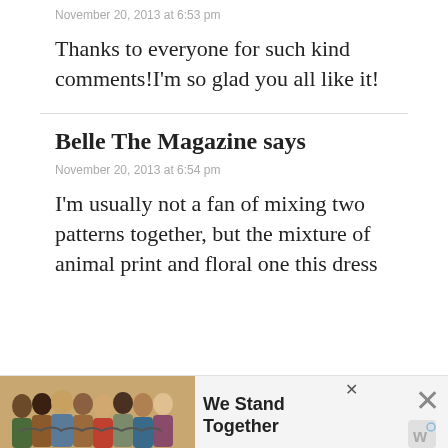November 20, 2013 at 6:53 pm
Thanks to everyone for such kind comments!I'm so glad you all like it!
Belle The Magazine says
November 20, 2013 at 6:54 pm
I'm usually not a fan of mixing two patterns together, but the mixture of animal print and floral one this dress
[Figure (photo): Advertisement banner at the bottom showing a group of people with backs turned, text 'We Stand Together', close button, and a W logo]